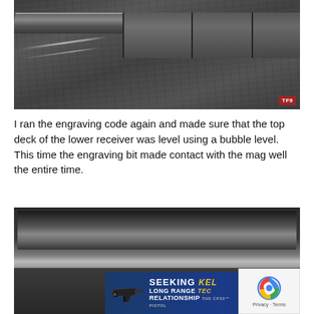[Figure (photo): Close-up photograph of a dark textured metal firearm lower receiver mag well area, showing ridged surfaces and machined edges. TF9 watermark in bottom right corner.]
I ran the engraving code again and made sure that the top deck of the lower receiver was level using a bubble level. This time the engraving bit made contact with the mag well the entire time.
[Figure (photo): Close-up photograph of the interior of a metal firearm lower receiver mag well, showing a horizontal machined surface with a bright reflective band. An advertisement banner for Kel-Tec CP33 pistol overlays the bottom, reading SEEKING LONG RANGE RELATIONSHIP with a Buy Now button. A reCAPTCHA privacy badge appears in the bottom right corner.]